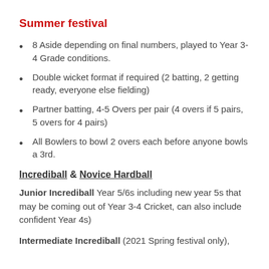Summer festival
8 Aside depending on final numbers, played to Year 3-4 Grade conditions.
Double wicket format if required (2 batting, 2 getting ready, everyone else fielding)
Partner batting, 4-5 Overs per pair (4 overs if 5 pairs, 5 overs for 4 pairs)
All Bowlers to bowl 2 overs each before anyone bowls a 3rd.
Incrediball & Novice Hardball
Junior Incrediball Year 5/6s including new year 5s that may be coming out of Year 3-4 Cricket, can also include confident Year 4s)
Intermediate Incrediball (2021 Spring festival only),